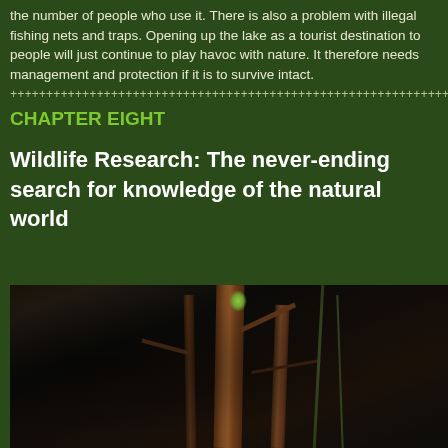the number of people who use it. There is also a problem with illegal fishing nets and traps. Opening up the lake as a tourist destination to people will just continue to play havoc with nature. It therefore needs management and protection if it is to survive intact.
CHAPTER EIGHT
Wildlife Research: The never-ending search for knowledge of the natural world
[Figure (photo): Night photograph of tree trunks and branches in a forest, illuminated scene showing vertical tree trunks with branches and vines against a dark background, with a small bright highlight visible near the top.]